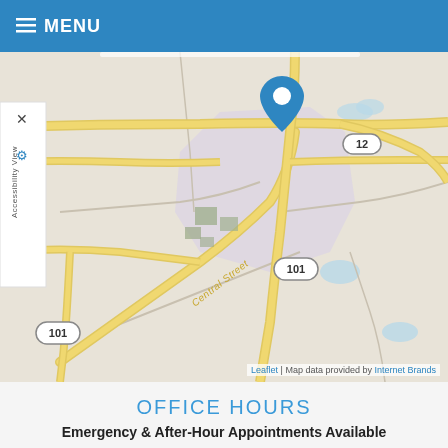☰ MENU
[Figure (map): Street map showing location pin (blue teardrop marker) on a road intersection with routes 101 and 12 marked, Central Street labeled, lavender-shaded area indicating a zone, yellow roads, and water bodies. Leaflet map with Internet Brands data attribution.]
Leaflet | Map data provided by Internet Brands
OFFICE HOURS
Emergency & After-Hour Appointments Available